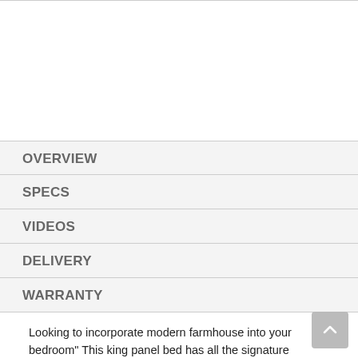OVERVIEW
SPECS
VIDEOS
DELIVERY
WARRANTY
Looking to incorporate modern farmhouse into your bedroom" This king panel bed has all the signature elements you've come to expect from an industrial-inspired piece: a rich dark brown finish, a hint of industrial gray wash and a cantilevered